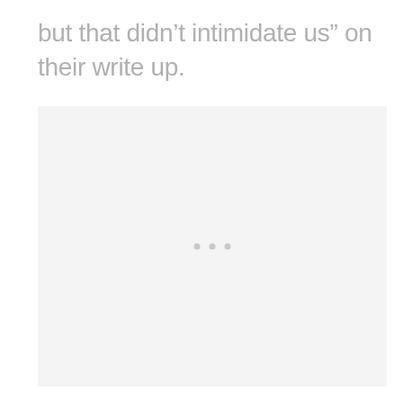but that didn't intimidate us” on their write up.
[Figure (other): Large light gray placeholder image area with three small dots centered in the lower portion, indicating a loading or empty image widget.]